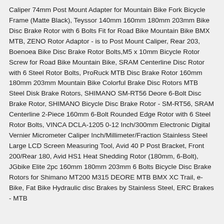Caliper 74mm Post Mount Adapter for Mountain Bike Fork Bicycle Frame (Matte Black), Teyssor 140mm 160mm 180mm 203mm Bike Disc Brake Rotor with 6 Bolts Fit for Road Bike Mountain Bike BMX MTB, ZENO Rotor Adaptor - is to Post Mount Caliper, Rear 203, Boenoea Bike Disc Brake Rotor Bolts,M5 x 10mm Bicycle Rotor Screw for Road Bike Mountain Bike, SRAM Centerline Disc Rotor with 6 Steel Rotor Bolts, ProRuck MTB Disc Brake Rotor 160mm 180mm 203mm Mountain Bike Colorful Brake Disc Rotors MTB Steel Disk Brake Rotors, SHIMANO SM-RT56 Deore 6-Bolt Disc Brake Rotor, SHIMANO Bicycle Disc Brake Rotor - SM-RT56, SRAM Centerline 2-Piece 160mm 6-Bolt Rounded Edge Rotor with 6 Steel Rotor Bolts, VINCA DCLA-1205 0-12 Inch/300mm Electronic Digital Vernier Micrometer Caliper Inch/Millimeter/Fraction Stainless Steel Large LCD Screen Measuring Tool, Avid 40 P Post Bracket, Front 200/Rear 180, Avid HS1 Heat Shedding Rotor (180mm, 6-Bolt), JGbike Elite 2pc 160mm 180mm 203mm 6 Bolts Bicycle Disc Brake Rotors for Shimano MT200 M315 DEORE MTB BMX XC Trail, e-Bike, Fat Bike Hydraulic disc Brakes by Stainless Steel, ERC Brakes - MTB